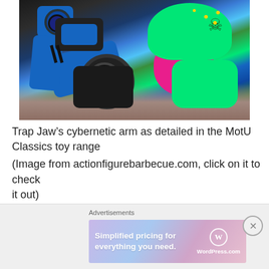[Figure (photo): Close-up photo of a Trap Jaw action figure from Masters of the Universe Classics toy range, showing the cybernetic arm with blue mechanical gun/arm attachment, dark mechanical joints, green armored body, magenta/pink hair, and a green helmet with skull detail.]
Trap Jaw’s cybernetic arm as detailed in the MotU Classics toy range
(Image from actionfigurebarbecue.com, click on it to check it out)
Advertisements
Advertisements
[Figure (screenshot): WordPress.com advertisement banner reading 'Simplified pricing for everything you need.' with WordPress.com logo on gradient pink/purple/blue background.]